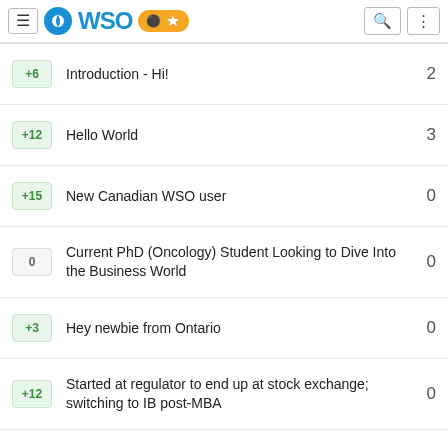WSO
Introduction - Hi! | +6 | 2
Hello World | +12 | 3
New Canadian WSO user | +15 | 0
Current PhD (Oncology) Student Looking to Dive Into the Business World | 0 | 0
Hey newbie from Ontario | +3 | 0
Started at regulator to end up at stock exchange; switching to IB post-MBA | +12 | 0
International High School Graduate Says Hello To WSO + Questions | +12 | 1
Hoping to exit law | 0 | 2